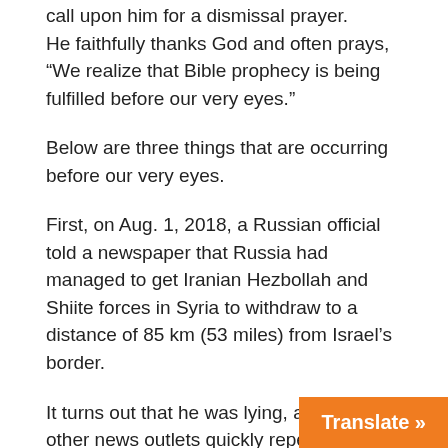call upon him for a dismissal prayer.
He faithfully thanks God and often prays, “We realize that Bible prophecy is being fulfilled before our very eyes.”
Below are three things that are occurring before our very eyes.
First, on Aug. 1, 2018, a Russian official told a newspaper that Russia had managed to get Iranian Hezbollah and Shiite forces in Syria to withdraw to a distance of 85 km (53 miles) from Israel’s border.
It turns out that he was lying, and several other news outlets quickly repeated his lie.
Over the next two days, Iranian, Hezbollah and Shiite forces moved closer to Israel’s border along the Golan Heights – not farther away.
Russia also stationed Chechen troops in R… eight positions along Syria’s border with Is…